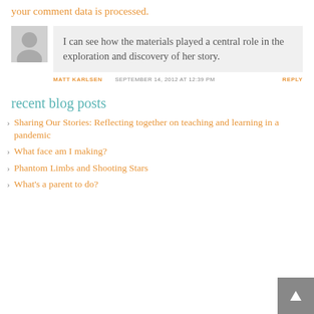your comment data is processed.
I can see how the materials played a central role in the exploration and discovery of her story.
MATT KARLSEN   SEPTEMBER 14, 2012 AT 12:39 PM   REPLY
recent blog posts
Sharing Our Stories: Reflecting together on teaching and learning in a pandemic
What face am I making?
Phantom Limbs and Shooting Stars
What's a parent to do?